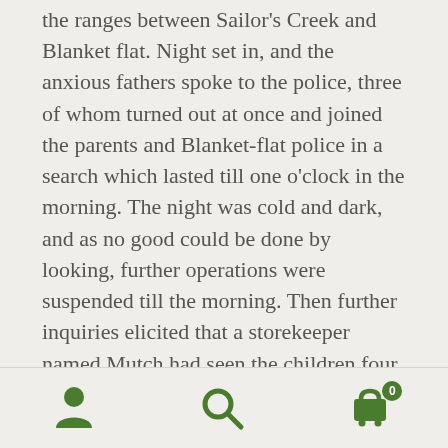the ranges between Sailor's Creek and Blanket flat. Night set in, and the anxious fathers spoke to the police, three of whom turned out at once and joined the parents and Blanket-flat police in a search which lasted till one o'clock in the morning. The night was cold and dark, and as no good could be done by looking, further operations were suspended till the morning. Then further inquiries elicited that a storekeeper named Mutch had seen the children four miles on the Ballan-road, and had directed them to follow the telegraph wires back to Daylesford. They must have been afterwards led astray by the beaten track to Specimen-hill, on which, about dusk, they met a boy named Quinn, who told them that
[Figure (other): Bottom navigation bar with three icons: a person/user icon, a search/magnifying glass icon, and a shopping cart icon with a badge showing the number 0. All icons are olive/dark green colored.]